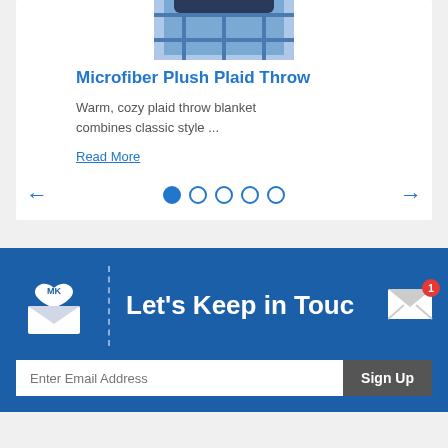[Figure (photo): Partial product image of a plaid throw blanket, cropped at top]
Microfiber Plush Plaid Throw
Warm, cozy plaid throw blanket combines classic style ...
Read More
[Figure (infographic): Carousel navigation: left arrow, 5 dots (first filled), right arrow]
[Figure (infographic): Newsletter signup section with mailbox icon labeled MK, dashed divider, text Let's Keep in Touch, envelope icon with red badge showing 1]
Enter Email Address
Sign Up